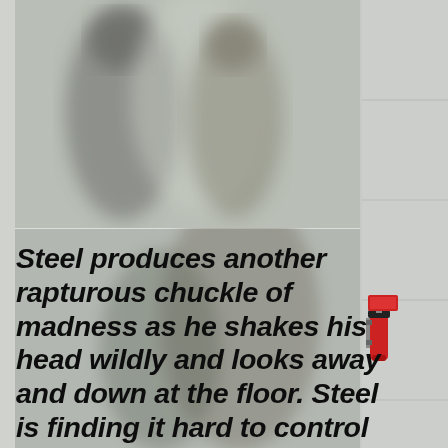[Figure (photo): Blurry photograph of two people, appears to be a still from a film or TV show, taken in what looks like an indoor setting. The image is out of focus with muted grey-green tones.]
Steel produces another rapturous chuckle of madness as he shakes his head wildly and looks away and down at the floor. Steel is finding it hard to control his emotions and has never witnessed a zombie carrying out human related tasks. Steel looks back to Bub in high spirits